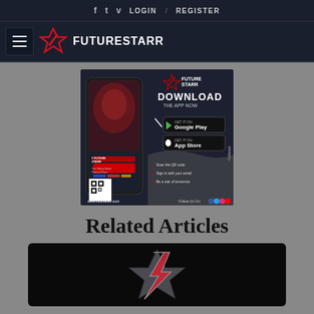f  t  v  LOGIN / REGISTER
[Figure (logo): Future Starr logo with hamburger menu and star icon]
[Figure (screenshot): Future Starr app download advertisement banner showing phone mockup and download links for Google Play and App Store, with QR code and www.futurestarr.com]
Related Articles
[Figure (photo): Dark image with Future Starr logo star mark in red/grey]